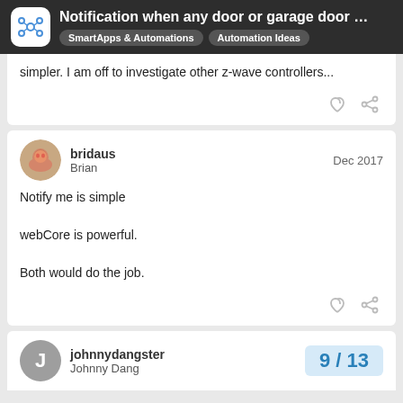Notification when any door or garage door … | SmartApps & Automations | Automation Ideas
simpler. I am off to investigate other z-wave controllers...
bridaus Brian Dec 2017
Notify me is simple

webCore is powerful.

Both would do the job.
johnnydangster Johnny Dang 9/13